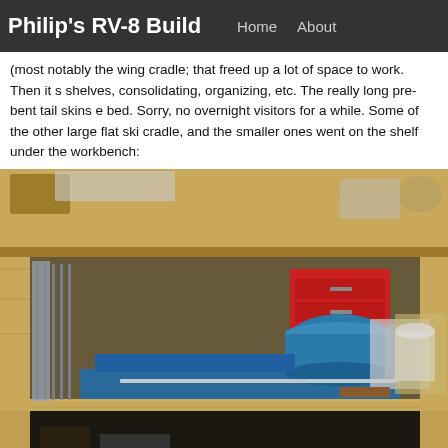Philip's RV-8 Build   Home   About
(most notably the wing cradle; that freed up a lot of space to work. Then it s shelves, consolidating, organizing, etc. The really long pre-bent tail skins e bed. Sorry, no overnight visitors for a while. Some of the other large flat ski cradle, and the smaller ones went on the shelf under the workbench:
[Figure (photo): Photograph of a wooden workbench with a lower shelf. On the shelf are several blue aluminum aircraft skin panels and parts, including a rolled/curved skin piece, flat skins, and various hardware bags and documents. Behind the workbench is a red tool chest on wheels and some garage shelving.]